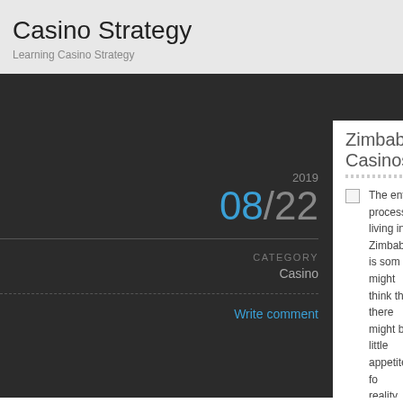Casino Strategy
Learning Casino Strategy
2019
08/22
CATEGORY
Casino
Write comment
Zimbabwe Casinos
The entire process of living in Zimbabwe is som might think that there might be little appetite for reality, it appears to be working the other way, with th higher desire to gamble, to attempt to locate a quick w
For almost all of the citizens subsisting on the meage styles of gaming, the state lotto and Zimbet. Just as w there is a national lottery where the probabilities of wi jackpots are also unbelievably high. It’s been said by many do not buy a ticket with the rational expectation